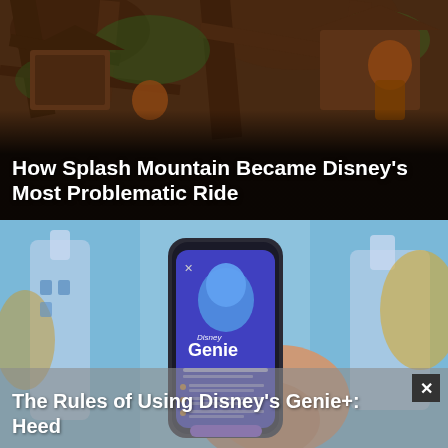[Figure (photo): Photo of Splash Mountain ride with wooden treehouse structures, branches, and animatronic characters in warm brown tones with green foliage]
How Splash Mountain Became Disney's Most Problematic Ride
[Figure (photo): Hand holding a smartphone displaying the Disney Genie app with blue and purple interface, showing the Genie character (blue lamp genie), with blurred Cinderella Castle in background]
The Rules of Using Disney's Genie+: Heed